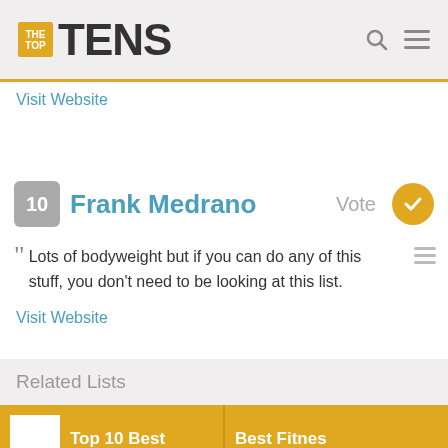THE TOP TENS
Visit Website
10 Frank Medrano — Vote
Lots of bodyweight but if you can do any of this stuff, you don't need to be looking at this list.
Visit Website
Related Lists
Top 10 Best
Best Fitnes